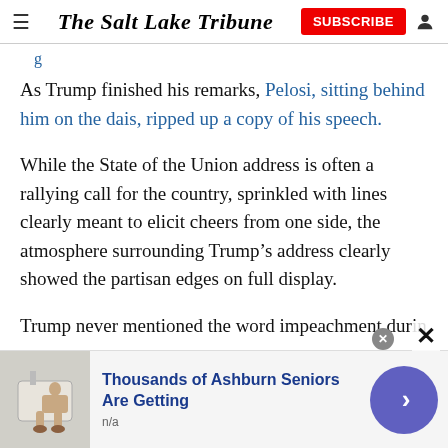The Salt Lake Tribune
As Trump finished his remarks, Pelosi, sitting behind him on the dais, ripped up a copy of his speech.
While the State of the Union address is often a rallying call for the country, sprinkled with lines clearly meant to elicit cheers from one side, the atmosphere surrounding Trump’s address clearly showed the partisan edges on full display.
Trump never mentioned the word impeachment durin
[Figure (infographic): Advertisement banner: photo of walk-in bathtub, headline 'Thousands of Ashburn Seniors Are Getting', subtext 'n/a', navigation arrow button, close X button]